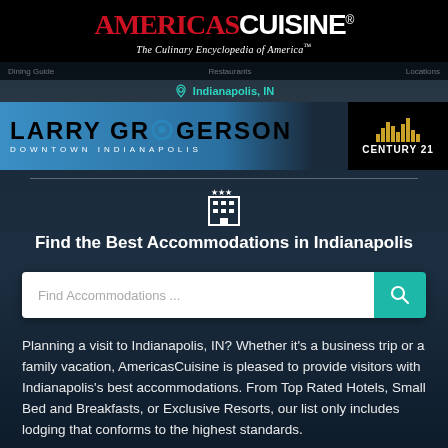[Figure (logo): AmericasCuisine logo with red serif AMERICAS and white bold CUISINE, tagline The Culinary Encyclopedia of America]
Dining Guide | Restaurants | Locations
Indianapolis, IN
[Figure (photo): Larry Gregerson Downtown Indianapolis Century 21 advertisement banner]
[Figure (illustration): Hotel building icon with stars]
Find the Best Accommodations in Indianapolis
Find Accommodations ...
Planning a visit to Indianapolis, IN? Whether it's a business trip or a family vacation, AmericasCuisine is pleased to provide visitors with Indianapolis's best accommodations. From Top Rated Hotels, Small Bed and Breakfasts, or Exclusive Resorts, our list only includes lodging that conforms to the highest standards.